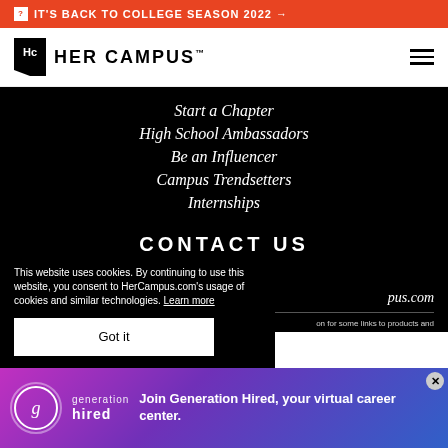IT'S BACK TO COLLEGE SEASON 2022 →
[Figure (logo): Her Campus logo with Hc icon and wordmark]
Start a Chapter
High School Ambassadors
Be an Influencer
Campus Trendsetters
Internships
CONTACT US
Advertise
pus.com
This website uses cookies. By continuing to use this website, you consent to HerCampus.com's usage of cookies and similar technologies. Learn more
Got it
[Figure (infographic): Generation Hired advertisement banner - Join Generation Hired, your virtual career center.]